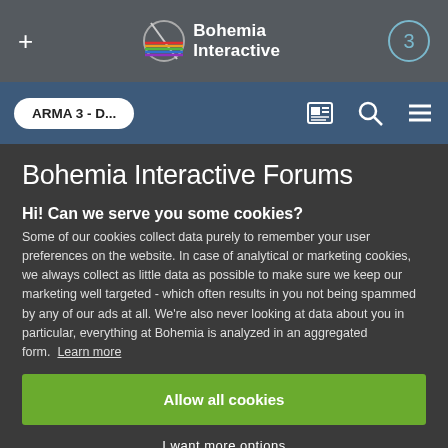+ Bohemia Interactive 3
ARMA 3 - D...
Bohemia Interactive Forums
Hi! Can we serve you some cookies?
Some of our cookies collect data purely to remember your user preferences on the website. In case of analytical or marketing cookies, we always collect as little data as possible to make sure we keep our marketing well targeted - which often results in you not being spammed by any of our ads at all. We're also never looking at data about you in particular, everything at Bohemia is analyzed in an aggregated form. Learn more
Allow all cookies
I want more options